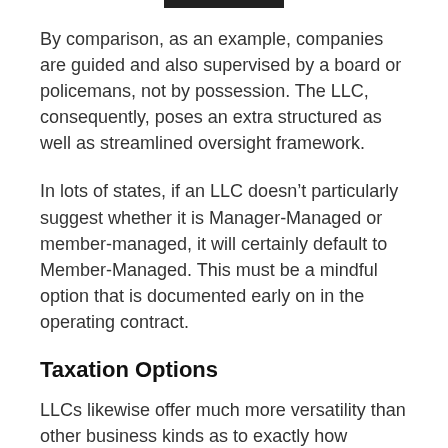By comparison, as an example, companies are guided and also supervised by a board or policemans, not by possession. The LLC, consequently, poses an extra structured as well as streamlined oversight framework.
In lots of states, if an LLC doesn’t particularly suggest whether it is Manager-Managed or member-managed, it will certainly default to Member-Managed. This must be a mindful option that is documented early on in the operating contract.
Taxation Options
LLCs likewise offer much more versatility than other business kinds as to exactly how taxation